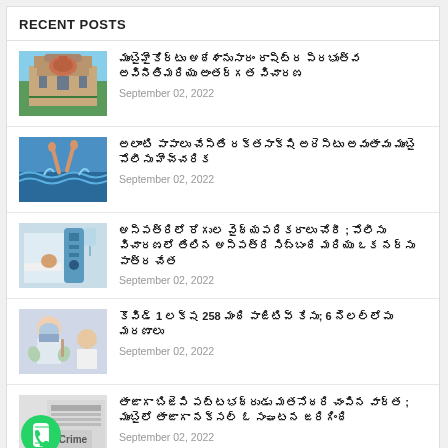RECENT POSTS
ముంబైహైకోర్టు ఆదేశానుసారం రాష్ట్ర ప్రభుత్వ అవినీతిమరియు అంతర్గత విచారణ
September 02, 2022
అలాంటి పాపాలు చేస్తే రక్తసాక్షి అరెస్టు అవుతావు ముంబై పోలీసు హెచ్చరిక
September 02, 2022
ఆస్పత్రిలో రోగుల వైద్యపరికరాలు చోరీ ; పోలీసు విచారణలో తేలిన ఆస్పత్రి సిబ్బంది మరియు ఒక నర్సు పాత్ర చేత
September 02, 2022
కొవిడ్ 1 లక్ష 258 మంది పాజిటివ్ కేసు; 6 నెలల్లోపు మరణాలు
September 02, 2022
తాజాగా బిజెపి పట్టభద్రుడు మతసోదరి చంపిన వార్త ; ముంబైలో తాజాగా నక్సల్ ఓ సంఘటన జరిగింది
September 02, 2022